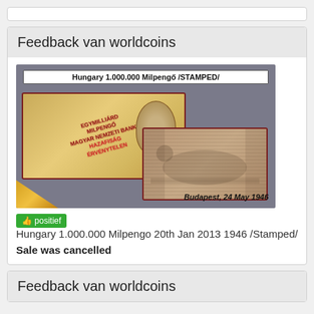Feedback van worldcoins
[Figure (photo): Photo of Hungary 1.000.000 Milpengő /STAMPED/ banknote showing front and back, with text 'Budapest, 24 May 1946']
positief   Hungary 1.000.000 Milpengo 20th Jan 2013 1946 /Stamped/
Sale was cancelled
Feedback van worldcoins